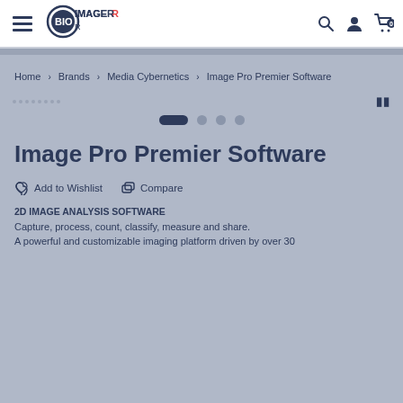[Figure (logo): BioImager logo with circular icon and text]
BioImager navigation bar with hamburger menu, logo, search, user, and cart icons
Home > Brands > Media Cybernetics > Image Pro Premier Software
[Figure (screenshot): Product image slider area with navigation dots: one active pill and three inactive circles]
Image Pro Premier Software
Add to Wishlist   Compare
2D IMAGE ANALYSIS SOFTWARE
Capture, process, count, classify, measure and share.
A powerful and customizable imaging platform driven by over 30